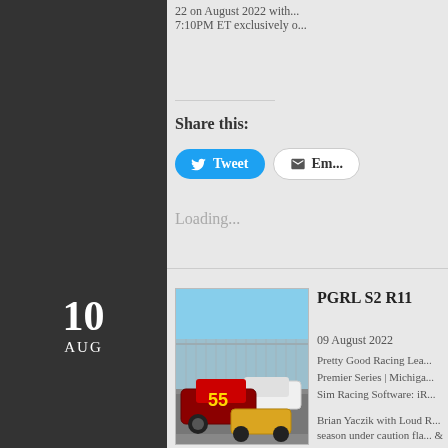7:10PM ET exclusively o...
Share this:
Tweet  Em...
Loading...
PGRL S2 R11
09 August 2022
Pretty Good Racing Lea...
Premier Series | Michiga...
Sim Racing Software: iR...
Brian Yaczik with Loud R... season under caution fla... & More 200" at Michiga...
10
AUG
[Figure (photo): NASCAR sim racing screenshot showing stock cars including car #55 on a track with grandstands in background]